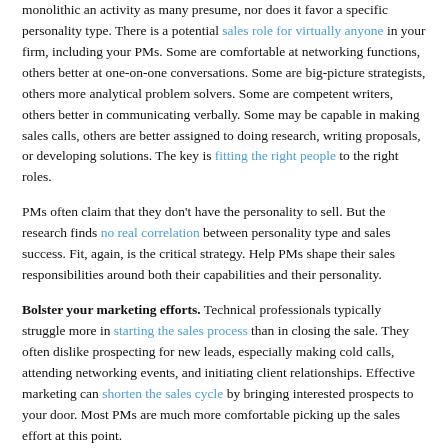monolithic an activity as many presume, nor does it favor a specific personality type. There is a potential sales role for virtually anyone in your firm, including your PMs. Some are comfortable at networking functions, others better at one-on-one conversations. Some are big-picture strategists, others more analytical problem solvers. Some are competent writers, others better in communicating verbally. Some may be capable in making sales calls, others are better assigned to doing research, writing proposals, or developing solutions. The key is fitting the right people to the right roles.
PMs often claim that they don't have the personality to sell. But the research finds no real correlation between personality type and sales success. Fit, again, is the critical strategy. Help PMs shape their sales responsibilities around both their capabilities and their personality.
Bolster your marketing efforts. Technical professionals typically struggle more in starting the sales process than in closing the sale. They often dislike prospecting for new leads, especially making cold calls, attending networking events, and initiating client relationships. Effective marketing can shorten the sales cycle by bringing interested prospects to your door. Most PMs are much more comfortable picking up the sales effort at this point.